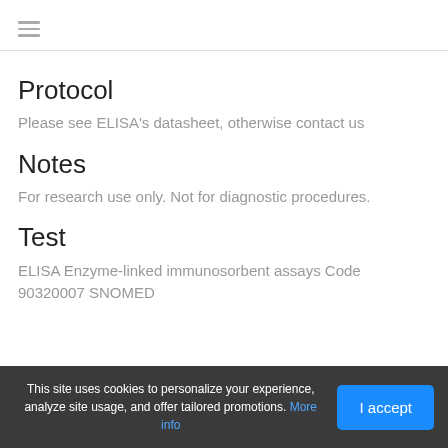≡
Protocol
Please see ELISA's datasheet, otherwise contact us
Notes
For research use only. Not for diagnostic procedures.
Test
ELISA Enzyme-linked immunosorbent assays Code 90320007 SNOMED
This site uses cookies to personalize your experience, analyze site usage, and offer tailored promotions. More info